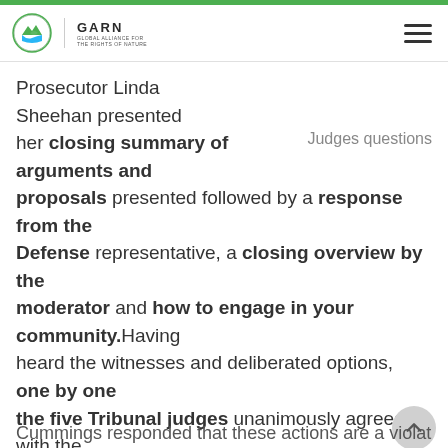GARN - Global Alliance for the Rights of Nature
Prosecutor Linda Sheehan presented her closing summary of arguments and proposals presented followed by a response from the Defense representative, a closing overview by the moderator and how to engage in your community.Having heard the witnesses and deliberated options, one by one the five Tribunal judges unanimously agreed with the Prosecutions assertions. Carl Anthony opened t r n Cummings responded that these actions are a violation
Judges questions
By using this website, you agree to our cookie policy.